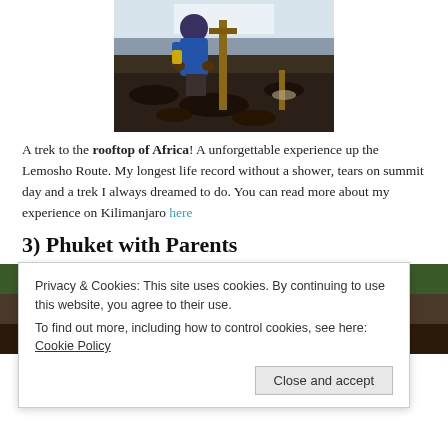[Figure (photo): Person in blue jacket standing at a summit marker on Kilimanjaro, rocky dark volcanic ground, glacier/snow wall in background]
A trek to the rooftop of Africa! A unforgettable experience up the Lemosho Route. My longest life record without a shower, tears on summit day and a trek I always dreamed to do. You can read more about my experience on Kilimanjaro here
3) Phuket with Parents
[Figure (photo): Group photo in Phuket, partially obscured by cookie consent banner]
Privacy & Cookies: This site uses cookies. By continuing to use this website, you agree to their use.
To find out more, including how to control cookies, see here: Cookie Policy
Close and accept